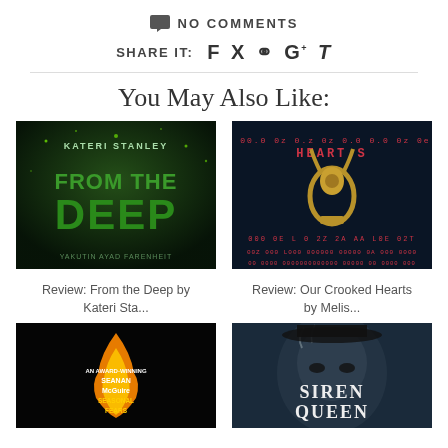NO COMMENTS
SHARE IT:  f  t  ℗  g+  t
You May Also Like:
[Figure (photo): Book cover: From the Deep by Kateri Stanley - green underwater texture with large text]
Review: From the Deep by Kateri Sta...
[Figure (photo): Book cover: Our Crooked Hearts by Melissa Albert - dark door knocker with digital text overlay]
Review: Our Crooked Hearts by Melis...
[Figure (photo): Book cover: Seasonal Fears by Seanan McGuire - flame on black background]
[Figure (photo): Book cover: Siren Queen - woman's face with text overlaid]